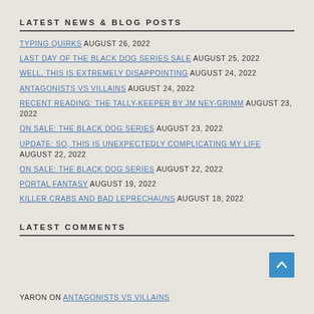LATEST NEWS & BLOG POSTS
TYPING QUIRKS AUGUST 26, 2022
LAST DAY OF THE BLACK DOG SERIES SALE AUGUST 25, 2022
WELL, THIS IS EXTREMELY DISAPPOINTING AUGUST 24, 2022
ANTAGONISTS VS VILLAINS AUGUST 24, 2022
RECENT READING: THE TALLY-KEEPER BY JM NEY-GRIMM AUGUST 23, 2022
ON SALE: THE BLACK DOG SERIES AUGUST 23, 2022
UPDATE: SO, THIS IS UNEXPECTEDLY COMPLICATING MY LIFE AUGUST 22, 2022
ON SALE: THE BLACK DOG SERIES AUGUST 22, 2022
PORTAL FANTASY AUGUST 19, 2022
KILLER CRABS AND BAD LEPRECHAUNS AUGUST 18, 2022
LATEST COMMENTS
YARON ON ANTAGONISTS VS VILLAINS